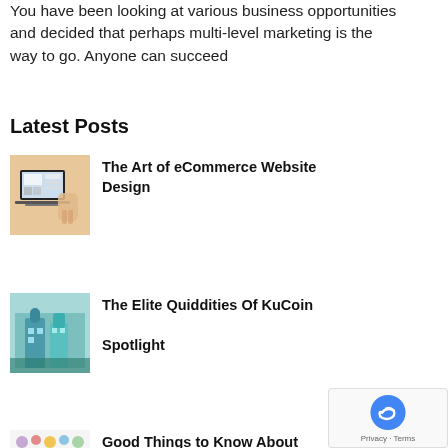You have been looking at various business opportunities and decided that perhaps multi-level marketing is the way to go. Anyone can succeed
Latest Posts
[Figure (photo): Thumbnail of person using laptop showing ecommerce website]
The Art of eCommerce Website Design
[Figure (photo): Thumbnail of colorful illustrated building/architecture in teal tones]
The Elite Quiddities Of KuCoin Spotlight
[Figure (photo): Thumbnail of Pandora charms collection]
Good Things to Know About Pandora Charms